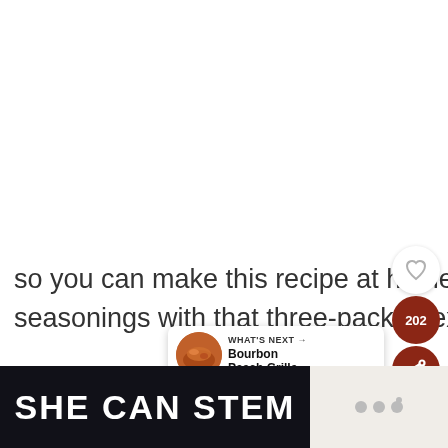so you can make this recipe at home! Plus you'll have some extra seasonings with that three-pack to experiment with 🙂 It's a win!
[Figure (screenshot): Heart/like button (outline heart icon in white circle), like count badge showing 202 in dark red circle, share button in dark red circle, and a 'What's Next' card with thumbnail image of Bourbon Peach Grille... dish]
SHE CAN STEM
[Figure (logo): Small logo or watermark on the right side of the bottom banner, appears to be three dots or stylized letters in gray]